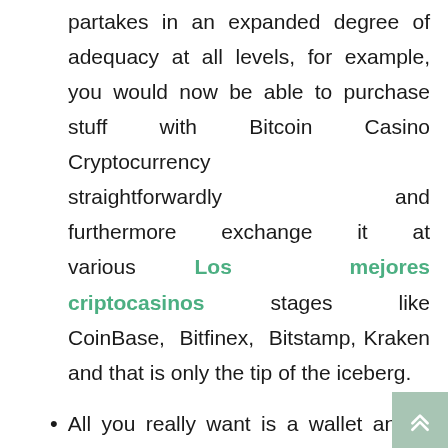partakes in an expanded degree of adequacy at all levels, for example, you would now be able to purchase stuff with Bitcoin Casino Cryptocurrency straightforwardly and furthermore exchange it at various Los mejores criptocasinos stages like CoinBase, Bitfinex, Bitstamp, Kraken and that is only the tip of the iceberg.
All you really want is a wallet and a web association with make a shared Bitcoin move.
Much of the time the exchanges